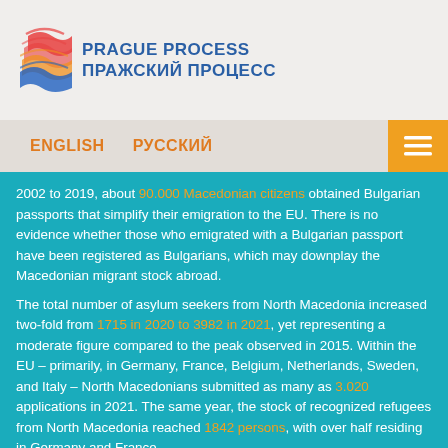[Figure (logo): Prague Process logo with colorful wave icon and text 'PRAGUE PROCESS / ПРАЖСКИЙ ПРОЦЕСС' in blue]
ENGLISH   РУССКИЙ
2002 to 2019, about 90.000 Macedonian citizens obtained Bulgarian passports that simplify their emigration to the EU. There is no evidence whether those who emigrated with a Bulgarian passport have been registered as Bulgarians, which may downplay the Macedonian migrant stock abroad.
The total number of asylum seekers from North Macedonia increased two-fold from 1715 in 2020 to 3982 in 2021, yet representing a moderate figure compared to the peak observed in 2015. Within the EU – primarily, in Germany, France, Belgium, Netherlands, Sweden, and Italy – North Macedonians submitted as many as 3.020 applications in 2021. The same year, the stock of recognized refugees from North Macedonia reached 1842 persons, with over half residing in Germany and France.
When it comes to statistics on returns, in 2020, 2.360 North Macedonian citizens were ordered to leave the EU, mostly from Germany (735), France (465), and Austria (225). The return rate remains consistently high. With 2.005 persons returned, it stood at